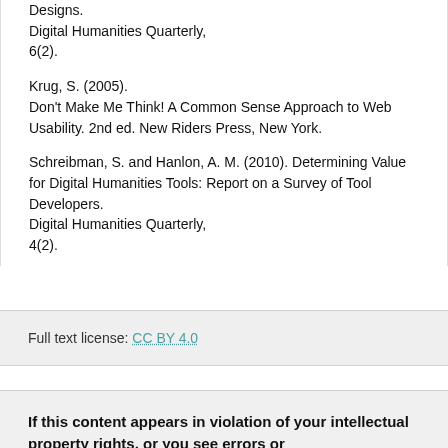Designs.
Digital Humanities Quarterly,
6(2).
Krug, S. (2005).
Don't Make Me Think! A Common Sense Approach to Web Usability. 2nd ed. New Riders Press, New York.
Schreibman, S. and Hanlon, A. M. (2010). Determining Value for Digital Humanities Tools: Report on a Survey of Tool Developers.
Digital Humanities Quarterly,
4(2).
Full text license: CC BY 4.0
If this content appears in violation of your intellectual property rights, or you see errors or